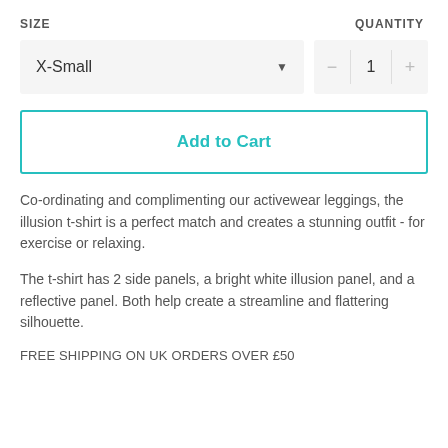SIZE
QUANTITY
X-Small
1
Add to Cart
Co-ordinating and complimenting our activewear leggings, the illusion t-shirt is a perfect match and creates a stunning outfit - for exercise or relaxing.
The t-shirt has 2 side panels, a bright white illusion panel, and a reflective panel. Both help create a streamline and flattering silhouette.
FREE SHIPPING ON UK ORDERS OVER £50